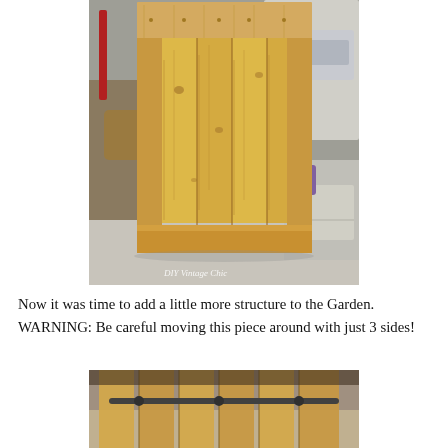[Figure (photo): A tall wooden cabinet/armoire structure with natural pine wood, showing three sides assembled in a garage workshop. The piece has a wide top rail, vertical planks, and a base rail. A watermark reads 'DIY Vintage Chic'.]
Now it was time to add a little more structure to the Garden. WARNING: Be careful moving this piece around with just 3 sides!
[Figure (photo): Close-up bottom view of the wooden cabinet structure showing the interior base area with additional framing and hardware visible from below.]